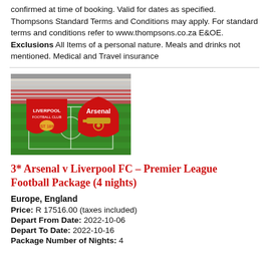confirmed at time of booking. Valid for dates as specified. Thompsons Standard Terms and Conditions may apply. For standard terms and conditions refer to www.thompsons.co.za E&OE. Exclusions All Items of a personal nature. Meals and drinks not mentioned. Medical and Travel insurance
[Figure (photo): Football match promotional image showing Liverpool FC and Arsenal FC crests/logos overlaid on a stadium background]
3* Arsenal v Liverpool FC – Premier League Football Package (4 nights)
Europe, England
Price: R 17516.00 (taxes included)
Depart From Date: 2022-10-06
Depart To Date: 2022-10-16
Package Number of Nights: 4